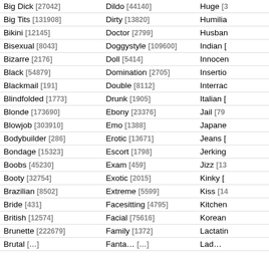| Tag [Count] | Tag [Count] | Tag [Count] |
| --- | --- | --- |
| Big Dick [27042] | Dildo [44140] | Huge [3…] |
| Big Tits [131908] | Dirty [13820] | Humilia… |
| Bikini [12145] | Doctor [2799] | Husban… |
| Bisexual [8043] | Doggystyle [109600] | Indian […] |
| Bizarre [2176] | Doll [5414] | Innocen… |
| Black [54879] | Domination [2705] | Insertio… |
| Blackmail [191] | Double [8112] | Interrac… |
| Blindfolded [1773] | Drunk [1905] | Italian […] |
| Blonde [173690] | Ebony [23376] | Jail [79…] |
| Blowjob [303910] | Emo [1388] | Japane… |
| Bodybuilder [286] | Erotic [13671] | Jeans […] |
| Bondage [15323] | Escort [1798] | Jerking… |
| Boobs [45230] | Exam [459] | Jizz [13…] |
| Booty [32754] | Exotic [2015] | Kinky […] |
| Brazilian [8502] | Extreme [5599] | Kiss [14…] |
| Bride [431] | Facesitting [4795] | Kitchen… |
| British [12574] | Facial [75616] | Korean… |
| Brunette [222679] | Family [1372] | Lactatin… |
| Brutal […] | Fanta… […] | Lad… |